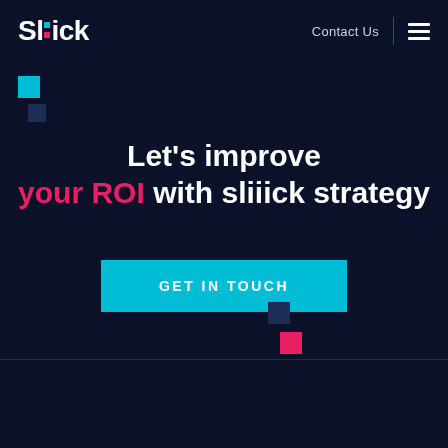Sl.iick | Contact Us
Let's improve your ROI with sliiick strategy
GET IN TOUCH